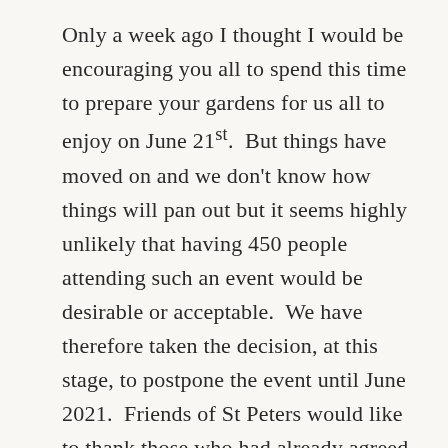Only a week ago I thought I would be encouraging you all to spend this time to prepare your gardens for us all to enjoy on June 21st. But things have moved on and we don't know how things will pan out but it seems highly unlikely that having 450 people attending such an event would be desirable or acceptable. We have therefore taken the decision, at this stage, to postpone the event until June 2021. Friends of St Peters would like to thank those who had already agreed to open – we look forward to visiting your gardens next year. Take care all.